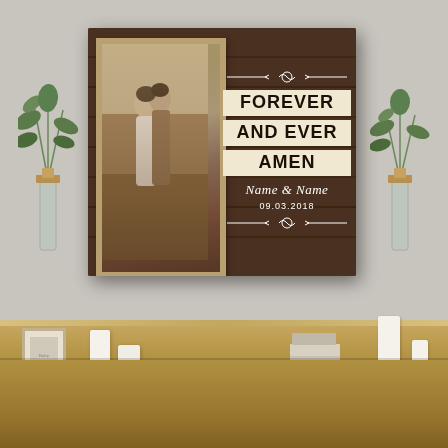[Figure (photo): Product lifestyle photo showing a personalized canvas wall art hung on a light gray wall above a wooden credenza. The canvas features a rustic dark wood background, a photo frame on the left side showing a couple embracing, and text on the right reading 'FOREVER AND EVER AMEN' with 'Name & Name' and date '09.03.2018'. Glass vases with eucalyptus branches flank the canvas. Candles, a small frame, and books are on the credenza below.]